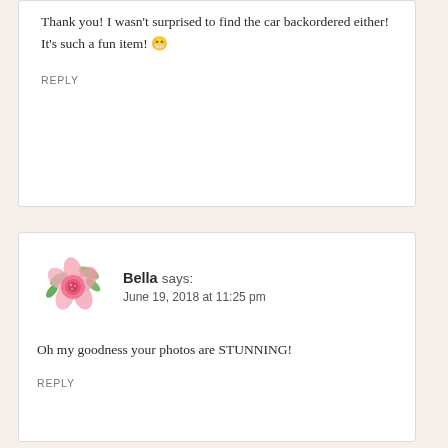Thank you! I wasn't surprised to find the car backordered either! It's such a fun item! 😁
REPLY
Bella says: June 19, 2018 at 11:25 pm
[Figure (illustration): Watercolor pink flower with green leaves avatar]
Oh my goodness your photos are STUNNING!
REPLY